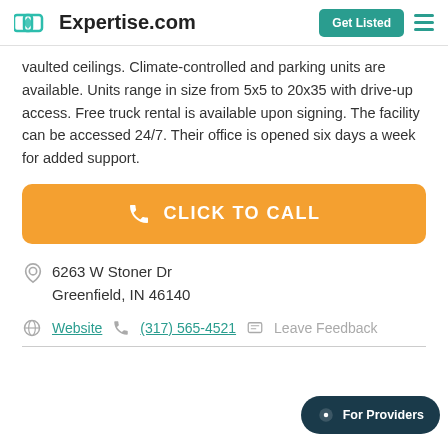Expertise.com | Get Listed
vaulted ceilings. Climate-controlled and parking units are available. Units range in size from 5x5 to 20x35 with drive-up access. Free truck rental is available upon signing. The facility can be accessed 24/7. Their office is opened six days a week for added support.
[Figure (other): Orange call-to-action button with phone icon and text CLICK TO CALL]
6263 W Stoner Dr
Greenfield, IN 46140
Website  (317) 565-4521  Leave Feedback
[Figure (other): Dark teal oval button with chat icon and text For Providers]